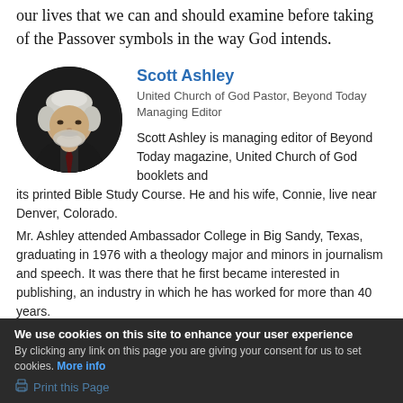our lives that we can and should examine before taking of the Passover symbols in the way God intends.
[Figure (photo): Circular headshot photo of Scott Ashley, an older man with white/gray hair and beard, wearing a dark suit and dark red tie, against a dark background.]
Scott Ashley
United Church of God Pastor, Beyond Today Managing Editor
Scott Ashley is managing editor of Beyond Today magazine, United Church of God booklets and its printed Bible Study Course. He and his wife, Connie, live near Denver, Colorado.
Mr. Ashley attended Ambassador College in Big Sandy, Texas, graduating in 1976 with a theology major and minors in journalism and speech. It was there that he first became interested in publishing, an industry in which he has worked for more than 40 years.
We use cookies on this site to enhance your user experience
By clicking any link on this page you are giving your consent for us to set cookies. More info